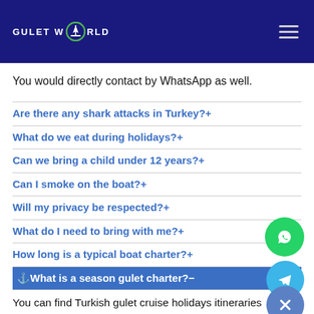GULET WORLD
You would directly contact by WhatsApp as well.
Are there any shark attacks in Turkey?+
What do we eat during holidays?+
Can we bring a child under 12 years?+
Can I smoke on the boat?+
Will my privacy be respected?+
What do I need to bring with me?+
How long is a typical boat charter?+
⚓What is a season gulet charter?−
You can find Turkish gulet cruise holidays itineraries worldwide but popular destinations in Turkey, Greece, and Croatia. The most significant factor is weather and sea conditions.
Sudden and prolonged cyclones and waves in Greece are not suitable for a Turkish gulet cruise